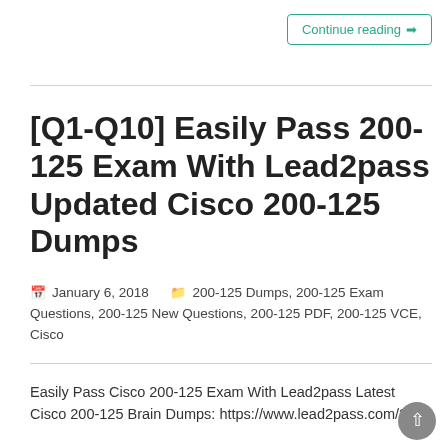Continue reading ❯
[Q1-Q10] Easily Pass 200-125 Exam With Lead2pass Updated Cisco 200-125 Dumps
January 6, 2018  200-125 Dumps, 200-125 Exam Questions, 200-125 New Questions, 200-125 PDF, 200-125 VCE, Cisco
Easily Pass Cisco 200-125 Exam With Lead2pass Latest Cisco 200-125 Brain Dumps: https://www.lead2pass.com/200-125.html QUESTION 1 Before that exhibit, What will Router...